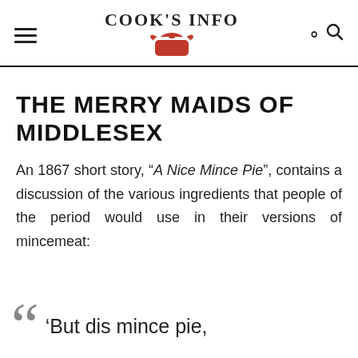COOK'S INFO
THE MERRY MAIDS OF MIDDLESEX
An 1867 short story, “A Nice Mince Pie”, contains a discussion of the various ingredients that people of the period would use in their versions of mincemeat:
‘But dis mince pie,